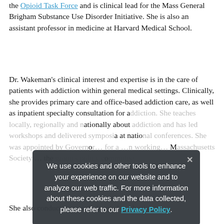the Opioid Task Force and is clinical lead for the Mass General Brigham Substance Use Disorder Initiative. She is also an assistant professor in medicine at Harvard Medical School.
Dr. Wakeman's clinical interest and expertise is in the care of patients with addiction within general medical settings. Clinically, she provides primary care and office-based addiction care, as well as inpatient specialty consultation for addiction. She teaches locally, regionally and nationally about addiction and has led workshops and delivered symposia at national conferences. She was appointed by Governor... working... Massachusetts Society... the group's policy committee.
[Figure (screenshot): Cookie consent modal overlay with dark semi-transparent background. Text reads: 'We use cookies and other tools to enhance your experience on our website and to analyze our web traffic. For more information about these cookies and the data collected, please refer to our Privacy Policy.' with a close button (x) in the top right.]
She also conducts research devoted to physician